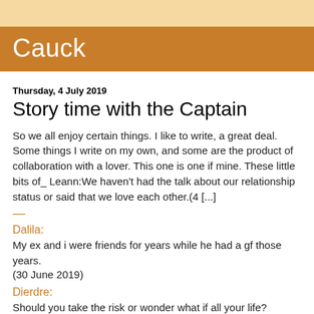Cauck
Thursday, 4 July 2019
Story time with the Captain
So we all enjoy certain things. I like to write, a great deal. Some things I write on my own, and some are the product of collaboration with a lover. This one is one if mine. These little bits of_ Leann:We haven't had the talk about our relationship status or said that we love each other.(4 [...]
—
Dalila:
My ex and i were friends for years while he had a gf those years.
(30 June 2019)
Dierdre:
Should you take the risk or wonder what if all your life?